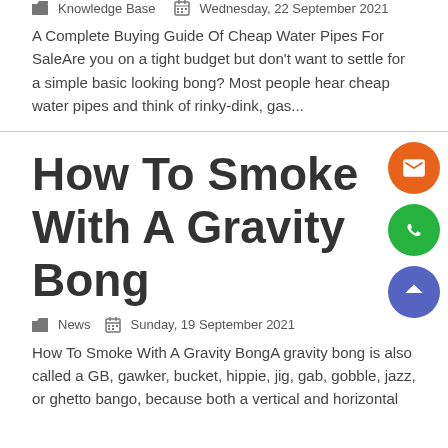Knowledge Base   Wednesday, 22 September 2021
A Complete Buying Guide Of Cheap Water Pipes For SaleAre you on a tight budget but don't want to settle for a simple basic looking bong? Most people hear cheap water pipes and think of rinky-dink, gas...
How To Smoke With A Gravity Bong
News   Sunday, 19 September 2021
How To Smoke With A Gravity BongA gravity bong is also called a GB, gawker, bucket, hippie, jig, gab, gobble, jazz, or ghetto bango, because both a vertical and horizontal motion are used for smoking...